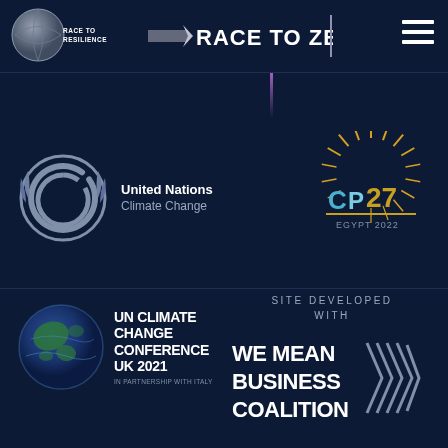[Figure (logo): Race to Resilience logo - circular logo with globe and text RACE TO RESILIENCE]
[Figure (logo): RACE TO ZERO logo with horizontal bar and text]
[Figure (logo): Hamburger menu icon (three horizontal lines)]
[Figure (logo): United Nations Climate Change logo with UNFCCC emblem (double C in wreath) and text United Nations Climate Change]
[Figure (logo): COP27 EGYPT 2022 logo with sunburst design]
[Figure (logo): UN Climate Change Conference UK 2021 logo with globe and text]
SITE DEVELOPED WITH
[Figure (logo): We Mean Business Coalition logo with arrow chevrons]